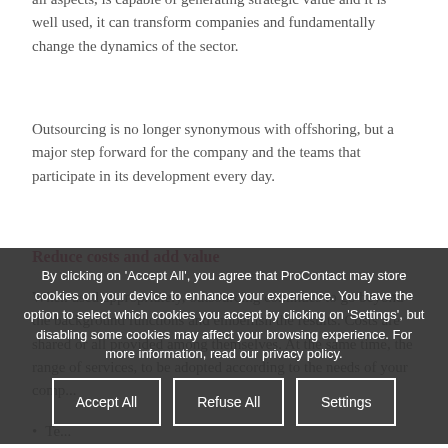all aspects, is capable of generating strategic value and it is well used, it can transform companies and fundamentally change the dynamics of the sector.
Outsourcing is no longer synonymous with offshoring, but a major step forward for the company and the teams that participate in its development every day.
Reduce costs and add value
When used appropriately, outsourcing continues to go beyond the background functions and embellish the results. Costs are shared or all provided among themselves. At the same time, the range of services, to be adopted according to the needs of your comp...
Te...
By clicking on 'Accept All', you agree that ProContact may store cookies on your device to enhance your experience. You have the option to select which cookies you accept by clicking on 'Settings', but disabling some cookies may affect your browsing experience. For more information, read our privacy policy.